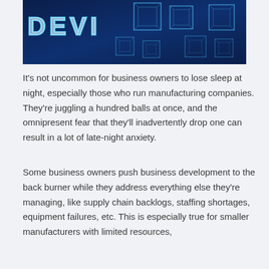[Figure (illustration): Dark blue banner image with glowing 3D cube shapes and partial text reading 'DEVI' in block letters, suggesting a technology or development theme.]
It's not uncommon for business owners to lose sleep at night, especially those who run manufacturing companies. They're juggling a hundred balls at once, and the omnipresent fear that they'll inadvertently drop one can result in a lot of late-night anxiety.
Some business owners push business development to the back burner while they address everything else they're managing, like supply chain backlogs, staffing shortages, equipment failures, etc. This is especially true for smaller manufacturers with limited resources,